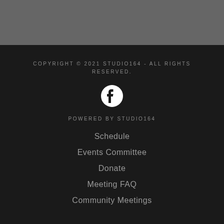COPYRIGHT © 2021 STUDIO164 - ALL RIGHTS RESERVED.
[Figure (logo): Facebook icon: white circle with Facebook 'f' logo inside]
POWERED BY STUDIO164
Schedule
Events Committee
Donate
Meeting FAQ
Community Meetings